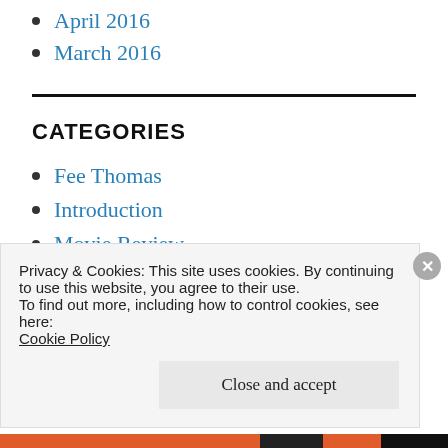April 2016
March 2016
CATEGORIES
Fee Thomas
Introduction
Movie Review
Plea For Help
Privacy & Cookies: This site uses cookies. By continuing to use this website, you agree to their use.
To find out more, including how to control cookies, see here:
Cookie Policy
Close and accept